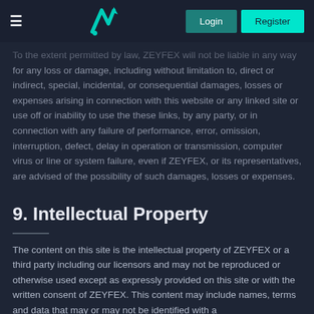ZEYFEX — Login | Register
To the extent permitted by law, ZEYFEX will not be liable in any way for any loss or damage, including without limitation to, direct or indirect, special, incidental, or consequential damages, losses or expenses arising in connection with this website or any linked site or use off or inability to use the these links, by any party, or in connection with any failure of performance, error, omission, interruption, defect, delay in operation or transmission, computer virus or line or system failure, even if ZEYFEX, or its representatives, are advised of the possibility of such damages, losses or expenses.
9. Intellectual Property
The content on this site is the intellectual property of ZEYFEX or a third party including our licensors and may not be reproduced or otherwise used except as expressly provided on this site or with the written consent of ZEYFEX. This content may include names, terms and data that may or may not be identified with a